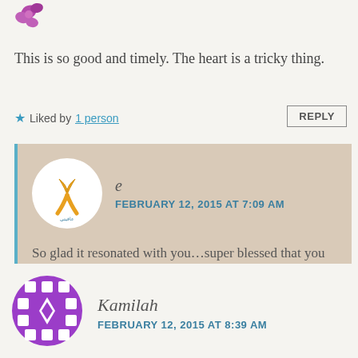[Figure (illustration): Small decorative avatar icon with purple/pink flower-like shapes at top left]
This is so good and timely. The heart is a tricky thing.
★ Liked by 1 person
REPLY
[Figure (illustration): Circular avatar with white background showing a yellow ribbon logo with Arabic text]
e
FEBRUARY 12, 2015 AT 7:09 AM
So glad it resonated with you...super blessed that you let me know
★ Like
REPLY
[Figure (illustration): Circular avatar with purple geometric/mosaic pattern for Kamilah]
Kamilah
FEBRUARY 12, 2015 AT 8:39 AM